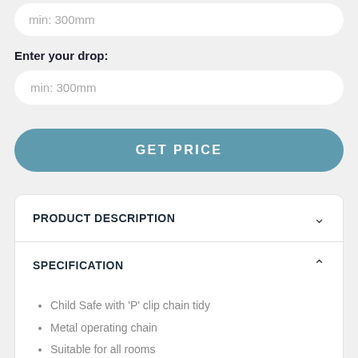min: 300mm
Enter your drop:
min: 300mm
GET PRICE
PRODUCT DESCRIPTION
SPECIFICATION
Child Safe with 'P' clip chain tidy
Metal operating chain
Suitable for all rooms
Material is 100% Polyester
Front fabric wrapped bottom bar